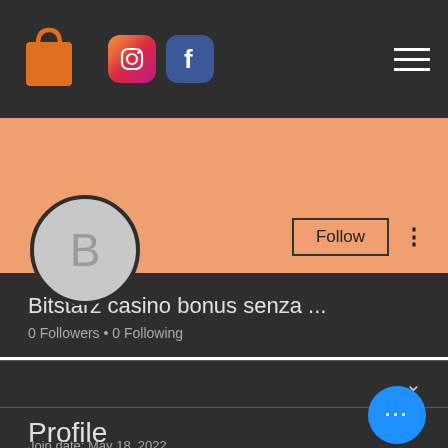[Figure (screenshot): Navigation bar with orange shopping bag icon showing 0, Instagram icon, Facebook icon, and hamburger menu on dark background]
[Figure (illustration): Orange/salmon color banner strip]
[Figure (illustration): Circular profile avatar with letter B on grey background]
Follow
Bitstarz casino bonus senza ...
0 Followers • 0 Following
Profile
Join date: May 18, 2022